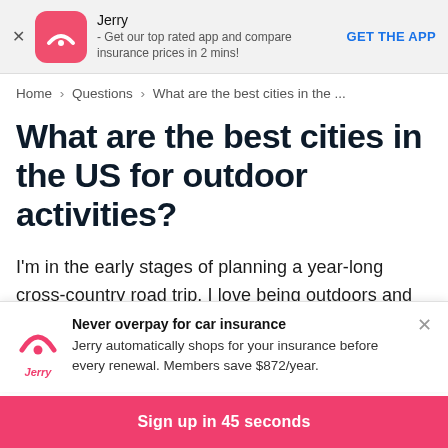[Figure (screenshot): Jerry app banner with pink rounded icon showing a radar/signal arc, app name 'Jerry', description '- Get our top rated app and compare insurance prices in 2 mins!', and 'GET THE APP' CTA in blue]
Home > Questions > What are the best cities in the ...
What are the best cities in the US for outdoor activities?
I'm in the early stages of planning a year-long cross-country road trip. I love being outdoors and
[Figure (infographic): Jerry ad popup: Jerry logo in pink, bold text 'Never overpay for car insurance', body text 'Jerry automatically shops for your insurance before every renewal. Members save $872/year.' with X close button]
Sign up in 45 seconds